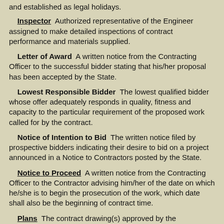and established as legal holidays.
Inspector  Authorized representative of the Engineer assigned to make detailed inspections of contract performance and materials supplied.
Letter of Award  A written notice from the Contracting Officer to the successful bidder stating that his/her proposal has been accepted by the State.
Lowest Responsible Bidder  The lowest qualified bidder whose offer adequately responds in quality, fitness and capacity to the particular requirement of the proposed work called for by the contract.
Notice of Intention to Bid  The written notice filed by prospective bidders indicating their desire to bid on a project announced in a Notice to Contractors posted by the State.
Notice to Proceed  A written notice from the Contracting Officer to the Contractor advising him/her of the date on which he/she is to begin the prosecution of the work, which date shall also be the beginning of contract time.
Plans  The contract drawing(s) approved by the Contracting Officer which show the location, character